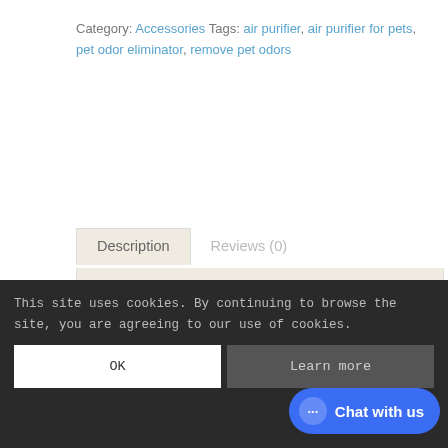Category: Accessories Tags: air purifier, air purifier for pets, pet odor eliminator, remove pet odors
Description (tab active), Reviews (0) (tab inactive)
Description
Need a replacement cord for your CritterZone? Make certain your air purifier for pets keeps working with an extra power cord.
Measures 6 feet long. Intended for grounded outlet use only.
SKU: CZ-PR-022-13
Weight: 3.50 Ounces
This site uses cookies. By continuing to browse the site, you are agreeing to our use of cookies.